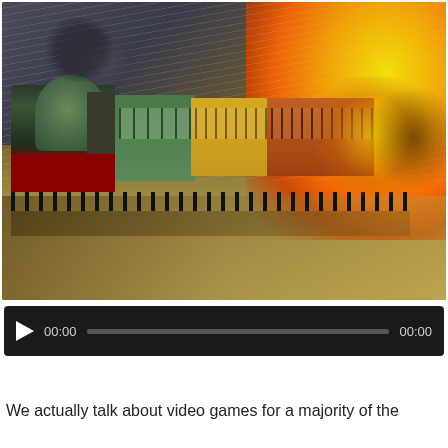[Figure (photo): Dramatic photo of a steam locomotive train speeding forward with large fiery explosions on both sides — a small explosion to the left of the locomotive and a large orange-yellow explosion on the right side. Storm clouds and rain in the background sky, motion-blurred ground beneath the train.]
[Figure (screenshot): Audio player widget with dark background showing a play button (triangle), start time 00:00, a grey progress bar, and end time 00:00.]
Download
We actually talk about video games for a majority of the